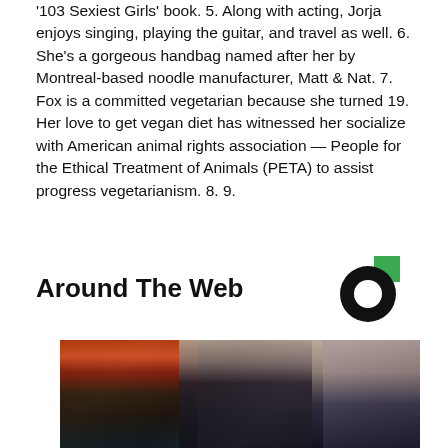'103 Sexiest Girls' book. 5. Along with acting, Jorja enjoys singing, playing the guitar, and travel as well. 6. She's a gorgeous handbag named after her by Montreal-based noodle manufacturer, Matt & Nat. 7. Fox is a committed vegetarian because she turned 19. Her love to get vegan diet has witnessed her socialize with American animal rights association — People for the Ethical Treatment of Animals (PETA) to assist progress vegetarianism. 8. 9.
Around The Web
[Figure (photo): Photo of a man in a casino or gaming venue, wearing sunglasses and a suit, with slot machines visible on the left and another person partially visible on the right.]